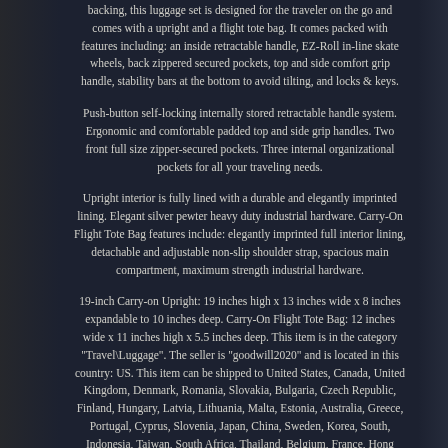backing, this luggage set is designed for the traveler on the go and comes with a upright and a flight tote bag. It comes packed with features including: an inside retractable handle, EZ-Roll in-line skate wheels, back zippered secured pockets, top and side comfort grip handle, stability bars at the bottom to avoid tilting, and locks & keys.
Push-button self-locking internally stored retractable handle system. Ergonomic and comfortable padded top and side grip handles. Two front full size zipper-secured pockets. Three internal organizational pockets for all your traveling needs.
Upright interior is fully lined with a durable and elegantly imprinted lining. Elegant silver pewter heavy duty industrial hardware. Carry-On Flight Tote Bag features include: elegantly imprinted full interior lining, detachable and adjustable non-slip shoulder strap, spacious main compartment, maximum strength industrial hardware.
19-inch Carry-on Upright: 19 inches high x 13 inches wide x 8 inches expandable to 10 inches deep. Carry-On Flight Tote Bag: 12 inches wide x 11 inches high x 5.5 inches deep. This item is in the category "Travel\Luggage". The seller is "goodwill2020" and is located in this country: US. This item can be shipped to United States, Canada, United Kingdom, Denmark, Romania, Slovakia, Bulgaria, Czech Republic, Finland, Hungary, Latvia, Lithuania, Malta, Estonia, Australia, Greece, Portugal, Cyprus, Slovenia, Japan, China, Sweden, Korea, South, Indonesia, Taiwan, South Africa, Thailand, Belgium, France, Hong Kong, Ireland, Netherlands, Poland, Spain, Italy, Germany, Austria, Bahamas,